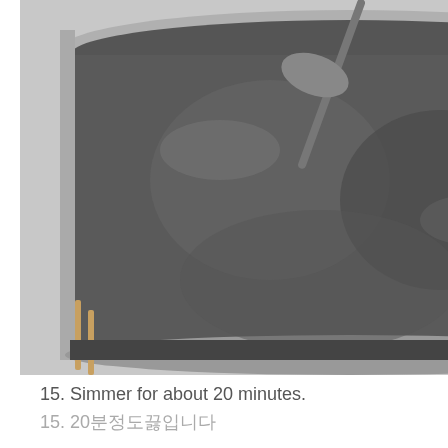[Figure (photo): A metal pot with dark gray/black dough or paste being stirred with a spoon, viewed from above. The mixture appears thick and sticky.]
15. Simmer for about 20 minutes.
15. 20분정도끓입니다
[Figure (photo): A white ceramic bowl containing several smooth, rounded dark gray dumplings or tteok (rice cakes) in a light broth or liquid.]
16. Done!
16. 완성!